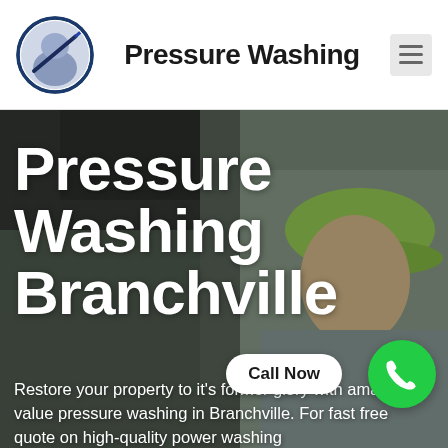[Figure (logo): Circular logo with a pressure washing wand/nozzle icon on dark blue/navy background]
Pressure Washing
[Figure (photo): Man wearing a green cap and grey jacket, outdoors with blurred greenery background, hero banner image]
Pressure Washing Branchville
Restore your property to it's former glory with amazing value pressure washing in Branchville. For fast free quote on high-quality power washing